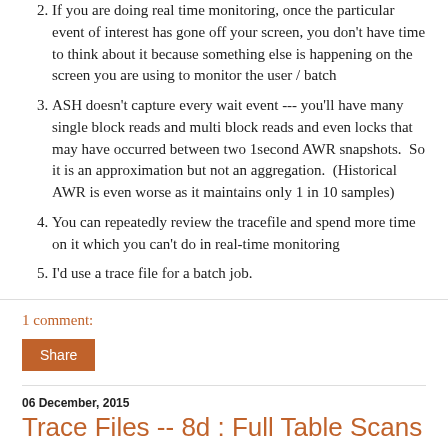2. If you are doing real time monitoring, once the particular event of interest has gone off your screen, you don’t have time to think about it because something else is happening on the screen you are using to monitor the user / batch
3. ASH doesn’t capture every wait event --- you’ll have many single block reads and multi block reads and even locks that may have occurred between two 1second AWR snapshots. So it is an approximation but not an aggregation. (Historical AWR is even worse as it maintains only 1 in 10 samples)
4. You can repeatedly review the tracefile and spend more time on it which you can’t do in real-time monitoring
5. I’d use a trace file for a batch job.
1 comment:
Share
06 December, 2015
Trace Files -- 8d : Full Table Scans
In the previous two posts, I have demonstrated direct path